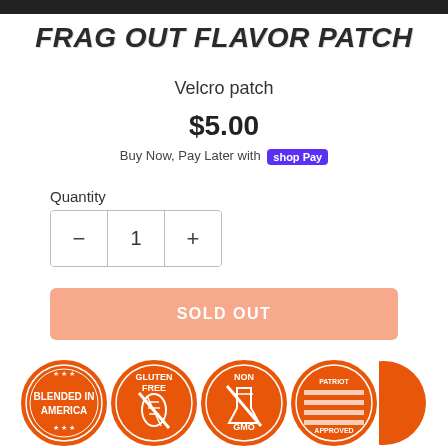[Figure (illustration): Dark banner/bar at top of page]
FRAG OUT FLAVOR PATCH
Velcro patch
$5.00
Buy Now, Pay Later with shop Pay
Quantity
1
SOLD OUT
[Figure (illustration): Four circular orange certification badges: Blended in America, Gluten Free, Non GMO, Patriot Approved, plus a partial fifth badge]